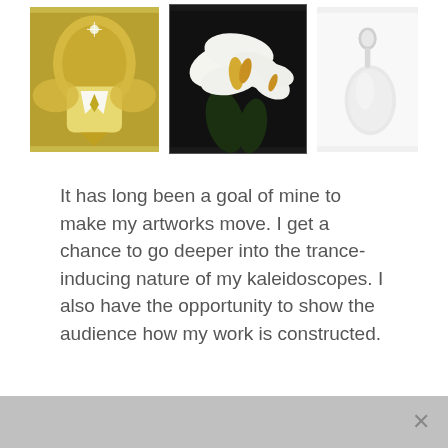[Figure (photo): Three images in a row: left is a gold and white kaleidoscope art piece, center is white calla lilies on dark background, right is a white ceramic or porcelain pendant/spoon shape on light background]
It has long been a goal of mine to make my artworks move. I get a chance to go deeper into the trance-inducing nature of my kaleidoscopes. I also have the opportunity to show the audience how my work is constructed.
[Figure (other): Gray advertisement bar at bottom of page with an X close button on the right side]